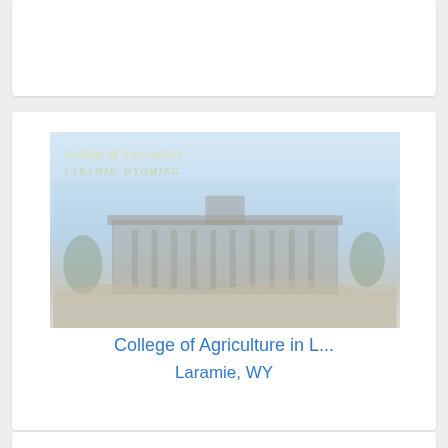[Figure (photo): Partial view of a card (cropped at top of page), white card on light gray background.]
[Figure (photo): Faded/washed-out photograph of the College of Agriculture building in Laramie, WY. The image shows a large institutional building with landscaped grounds. Script text overlay reads 'College of Agriculture' and 'LARAMIE, WYOMING'.]
College of Agriculture in L...
Laramie, WY
[Figure (photo): Partial view of a third card (cropped at bottom of page), white card on light gray background.]